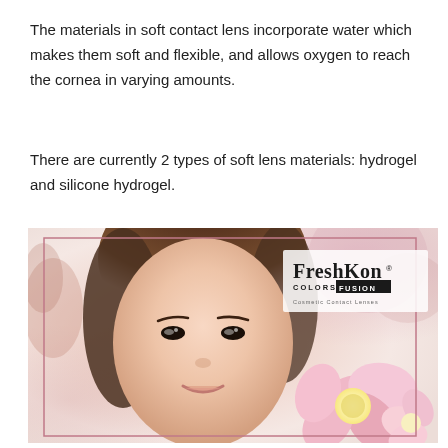The materials in soft contact lens incorporate water which makes them soft and flexible, and allows oxygen to reach the cornea in varying amounts.
There are currently 2 types of soft lens materials: hydrogel and silicone hydrogel.
[Figure (photo): Advertisement photo for FreshKon Colors Fusion Cosmetic Contact Lenses. Shows an Asian woman smiling, holding pink flowers, with a soft pink floral background. The FreshKon Colors Fusion logo is displayed in the upper right corner of the image. A thin pink rectangular border frames the inner portion of the image.]